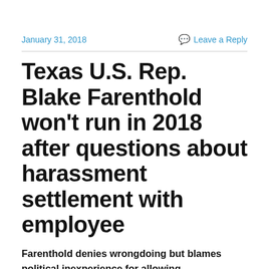January 31, 2018 | Leave a Reply
Texas U.S. Rep. Blake Farenthold won't run in 2018 after questions about harassment settlement with employee
Farenthold denies wrongdoing but blames political inexperience for allowing “unprofessional” work environment
♦By Rich Shumate, ChickenFriedPolitics.com editor